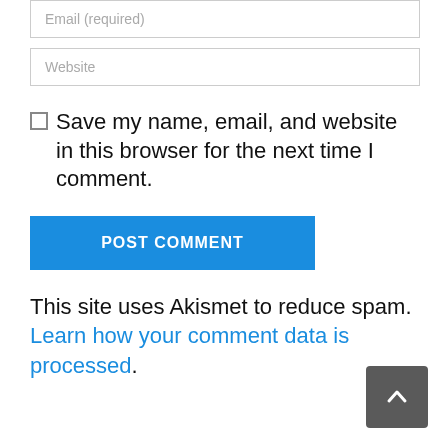Email (required)
Website
Save my name, email, and website in this browser for the next time I comment.
POST COMMENT
This site uses Akismet to reduce spam. Learn how your comment data is processed.